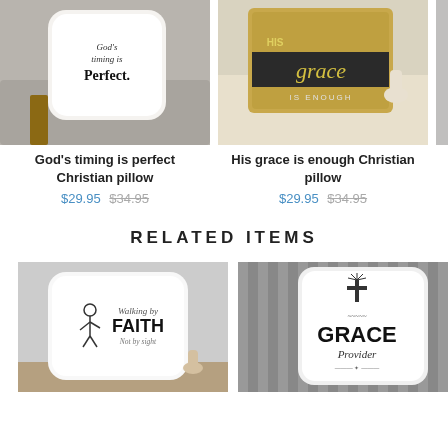[Figure (photo): White decorative pillow reading 'God's timing is Perfect' on a grey sofa]
God's timing is perfect Christian pillow
$29.95 $34.95
[Figure (photo): Burlap-style pillow reading 'His grace IS ENOUGH' on a wood shelf]
His grace is enough Christian pillow
$29.95 $34.95
[Figure (photo): Partially visible third pillow product]
RELATED ITEMS
[Figure (photo): White pillow reading 'Walking by FAITH Not by sight' on a wood table]
[Figure (photo): White pillow reading 'GRACE Provider' with cross emblem, on striped grey sofa]